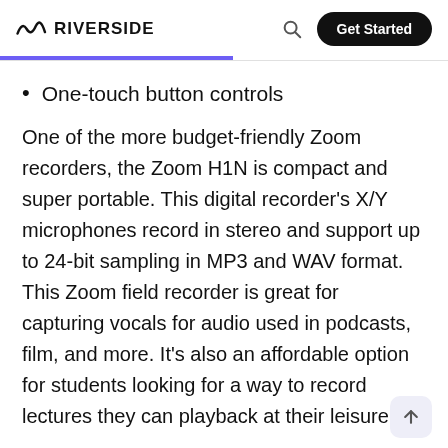RIVERSIDE | Get Started
One-touch button controls
One of the more budget-friendly Zoom recorders, the Zoom H1N is compact and super portable. This digital recorder's X/Y microphones record in stereo and support up to 24-bit sampling in MP3 and WAV format. This Zoom field recorder is great for capturing vocals for audio used in podcasts, film, and more. It's also an affordable option for students looking for a way to record lectures they can playback at their leisure.